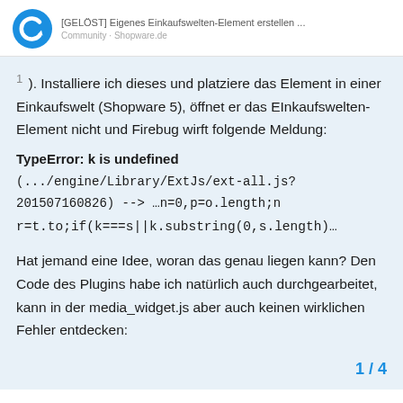[GELÖST] Eigenes Einkaufswelten-Element erstellen ...
1 ). Installiere ich dieses und platziere das Element in einer Einkaufswelt (Shopware 5), öffnet er das EInkaufswelten-Element nicht und Firebug wirft folgende Meldung:
TypeError: k is undefined (.../engine/Library/ExtJs/ext-all.js?201507160826) --> …n=0,p=o.length;n r=t.to;if(k===s||k.substring(0,s.length)…
Hat jemand eine Idee, woran das genau liegen kann? Den Code des Plugins habe ich natürlich auch durchgearbeitet, kann in der media_widget.js aber auch keinen wirklichen Fehler entdecken:
1 / 4